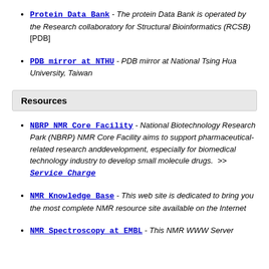Protein Data Bank - The protein Data Bank is operated by the Research collaboratory for Structural Bioinformatics (RCSB) [PDB]
PDB mirror at NTHU - PDB mirror at National Tsing Hua University, Taiwan
Resources
NBRP NMR Core Facility - National Biotechnology Research Park (NBRP) NMR Core Facility aims to support pharmaceutical-related research anddevelopment, especially for biomedical technology industry to develop small molecule drugs.  >> Service Charge
NMR Knowledge Base - This web site is dedicated to bring you the most complete NMR resource site available on the Internet
NMR Spectroscopy at EMBL - This NMR WWW Server